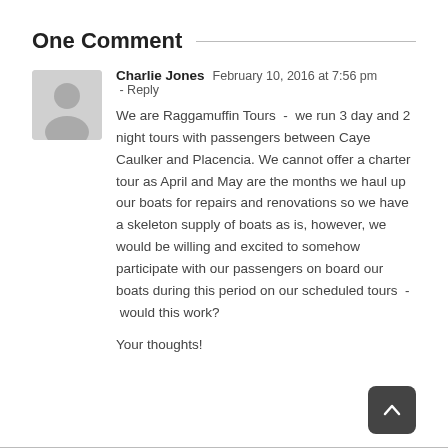One Comment
Charlie Jones  February 10, 2016 at 7:56 pm - Reply

We are Raggamuffin Tours - we run 3 day and 2 night tours with passengers between Caye Caulker and Placencia. We cannot offer a charter tour as April and May are the months we haul up our boats for repairs and renovations so we have a skeleton supply of boats as is, however, we would be willing and excited to somehow participate with our passengers on board our boats during this period on our scheduled tours - would this work?

Your thoughts!